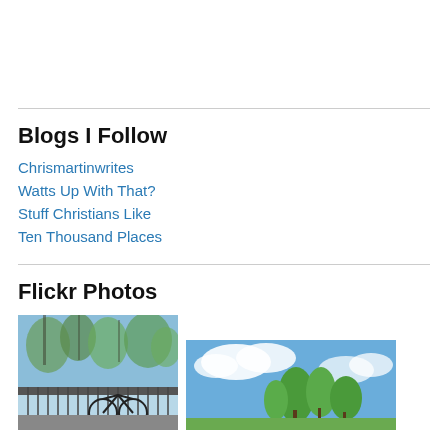Blogs I Follow
Chrismartinwrites
Watts Up With That?
Stuff Christians Like
Ten Thousand Places
Flickr Photos
[Figure (photo): Bicycles parked on a railing bridge with trees and blue sky]
[Figure (photo): Green trees and clouds against blue sky]